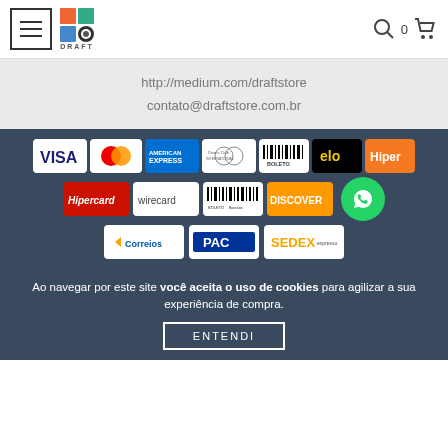Draft Store navigation header with hamburger menu, logo, search, and cart icons
http://medium.com/draftstore
contato@draftstore.com.br
[Figure (logo): Payment method logos: VISA, Mastercard, American Express, Diners Club, Boleto, Elo, Hiper, Hipercard, Wirecard, Boleto Bancário, Discover; Shipping logos: Correios, PAC, SEDEX]
Ao navegar por este site você aceita o uso de cookies para agilizar a sua experiência de compra.
ENTENDI